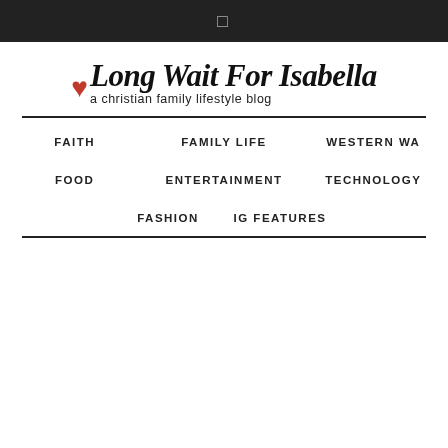☰
[Figure (logo): Long Wait For Isabella — a christian family lifestyle blog logo with red heart and cursive/bold typography]
FAITH
FAMILY LIFE
WESTERN WA
FOOD
ENTERTAINMENT
TECHNOLOGY
FASHION
IG FEATURES